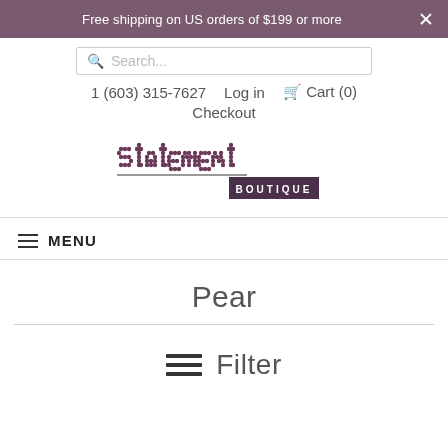Free shipping on US orders of $199 or more
Search...
1 (603) 315-7627   Log in   Cart (0)   Checkout
[Figure (logo): Statement Boutique logo — stylized dot-matrix lettering 'statement' with 'BOUTIQUE' in block letters below]
MENU
Pear
Filter